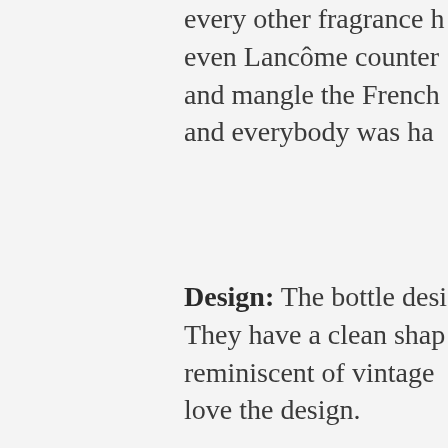every other fragrance h even Lancôme counter and mangle the French and everybody was ha
Design: The bottle desi They have a clean shap reminiscent of vintage love the design.
Fragrance Family: Mode
Notes: Bergamot, mand styrax.
So here's what I don't u collection. Only they've and you actually have